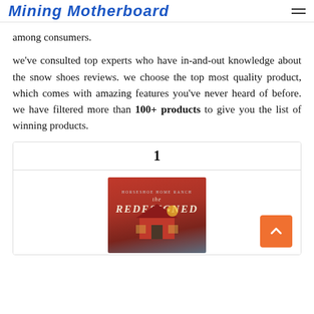Mining Motherboard
among consumers.
we've consulted top experts who have in-and-out knowledge about the snow shoes reviews. we choose the top most quality product, which comes with amazing features you've never heard of before. we have filtered more than 100+ products to give you the list of winning products.
| 1 |
| --- |
[Figure (photo): Book cover for 'The Redesigned Ranch' from Horseshoe Home Ranch series, showing a red barn against a sunset sky]